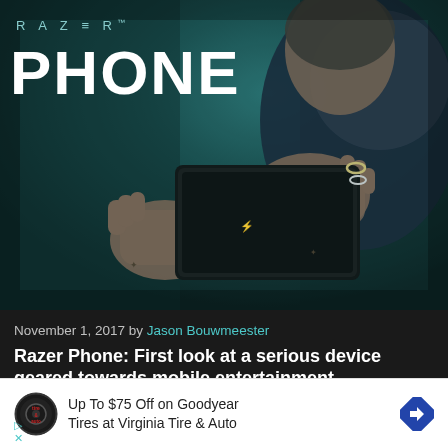[Figure (photo): Person holding a Razer Phone horizontally with both hands. The Razer logo and PHONE text overlay the dark teal-toned photo.]
November 1, 2017 by Jason Bouwmeester
Razer Phone: First look at a serious device geared towards mobile entertainment
Every feature of the Razer Phone was designed to bring users
[Figure (other): Advertisement: Up To $75 Off on Goodyear Tires at Virginia Tire & Auto, with Tire & Auto logo and navigation arrow icon]